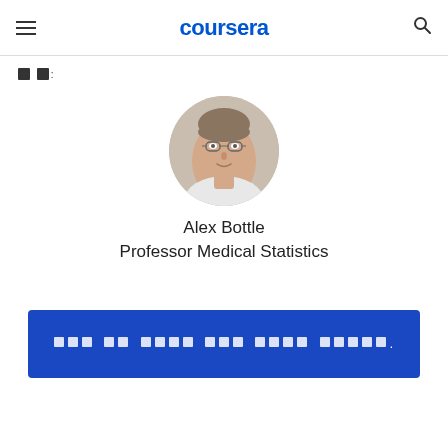coursera
🔲🔲:
[Figure (photo): Circular profile photo of Alex Bottle, a man with glasses and short hair, wearing a white shirt]
Alex Bottle
Professor Medical Statistics
🔲🔲🔲 🔲🔲 🔲🔲🔲🔲 🔲🔲🔲 🔲🔲🔲🔲 🔲🔲🔲🔲🔲.